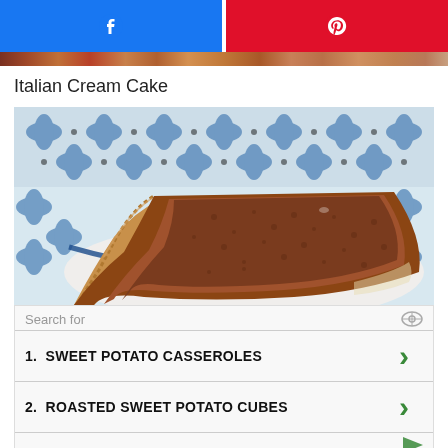[Figure (other): Two social share buttons: Facebook (blue) and Pinterest (red) side by side]
[Figure (photo): A slice of pie (appears to be a chess pie or custard pie) with a fluted pastry crust, dusted with cinnamon/spice on top, resting in a blue and white patterned ceramic bowl]
Italian Cream Cake
Search for
1.  SWEET POTATO CASSEROLES
2.  ROASTED SWEET POTATO CUBES